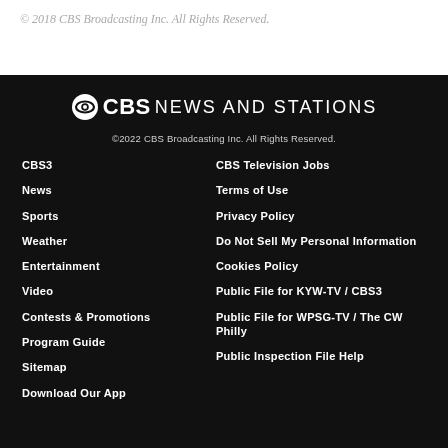© 2018 CBS Broadcasting Inc. All Rights Reserved.
[Figure (logo): CBS News and Stations logo with CBS eye icon]
©2022 CBS Broadcasting Inc. All Rights Reserved.
CBS3
News
Sports
Weather
Entertainment
Video
Contests & Promotions
Program Guide
Sitemap
Download Our App
CBS Television Jobs
Terms of Use
Privacy Policy
Do Not Sell My Personal Information
Cookies Policy
Public File for KYW-TV / CBS3
Public File for WPSG-TV / The CW Philly
Public Inspection File Help